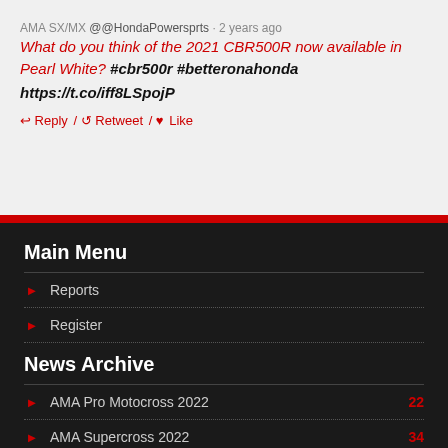AMA SX/MX @@HondaPowersprts · 2 years ago
What do you think of the 2021 CBR500R now available in Pearl White? #cbr500r #betteronahonda https://t.co/iff8LSpojP
↩ Reply / ↺ Retweet / ♥ Like
Main Menu
Reports
Register
News Archive
AMA Pro Motocross 2022  22
AMA Supercross 2022  34